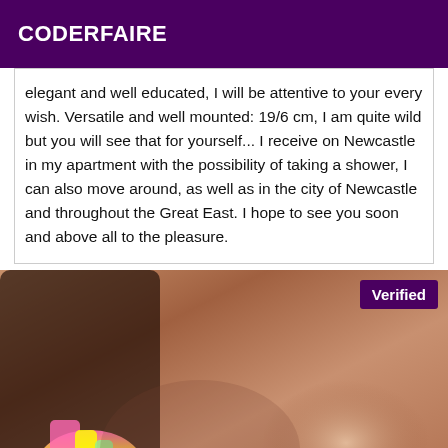CODERFAIRE
elegant and well educated, I will be attentive to your every wish. Versatile and well mounted: 19/6 cm, I am quite wild but you will see that for yourself... I receive on Newcastle in my apartment with the possibility of taking a shower, I can also move around, as well as in the city of Newcastle and throughout the Great East. I hope to see you soon and above all to the pleasure.
[Figure (photo): Close-up photo of a person wearing a colorful pink and yellow bikini top, with a 'Verified' badge in the top right corner.]